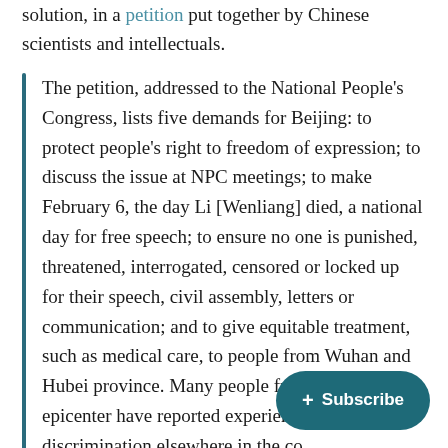solution, in a petition put together by Chinese scientists and intellectuals.
The petition, addressed to the National People's Congress, lists five demands for Beijing: to protect people's right to freedom of expression; to discuss the issue at NPC meetings; to make February 6, the day Li [Wenliang] died, a national day for free speech; to ensure no one is punished, threatened, interrogated, censored or locked up for their speech, civil assembly, letters or communication; and to give equitable treatment, such as medical care, to people from Wuhan and Hubei province. Many people from the outbreak epicenter have reported experiencing discrimination elsewhere in the co... has spread.
The petition is gaining momentum online, but some